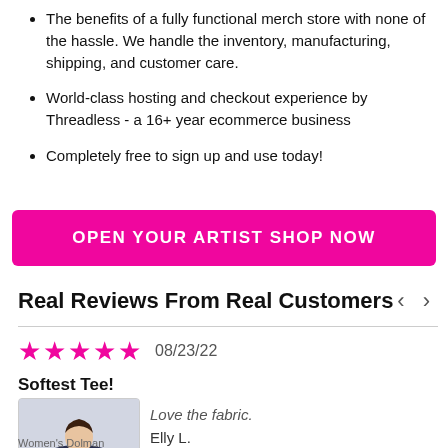The benefits of a fully functional merch store with none of the hassle. We handle the inventory, manufacturing, shipping, and customer care.
World-class hosting and checkout experience by Threadless - a 16+ year ecommerce business
Completely free to sign up and use today!
OPEN YOUR ARTIST SHOP NOW
Real Reviews From Real Customers
08/23/22
Softest Tee!
[Figure (photo): Photo of a woman wearing a navy blue dolman t-shirt with a graphic design]
Women's Dolman
Love the fabric. Elly L.